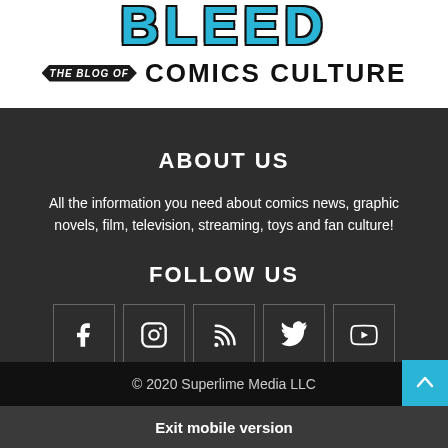[Figure (logo): Blog logo showing stylized text at top (partially cropped), a black ribbon banner reading 'THE BLOG OF', and bold text 'COMICS CULTURE']
ABOUT US
All the information you need about comics news, graphic novels, film, television, streaming, toys and fan culture!
FOLLOW US
[Figure (infographic): Row of 5 social media icon buttons: Facebook (f), Instagram (circle with square), RSS (wifi signal), Twitter (bird), YouTube (play button)]
© 2020 Superlime Media LLC
Exit mobile version